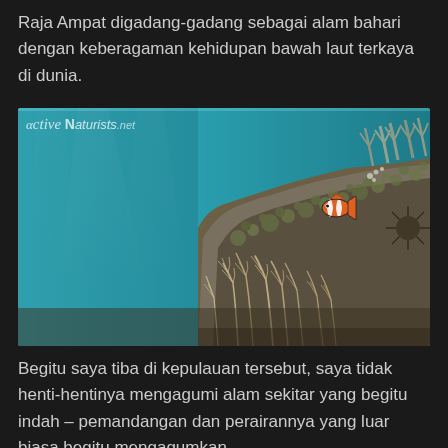Raja Ampat digadang-gadang sebagai alam bahari dengan keberagaman kehidupan bawah laut terkaya di dunia.
[Figure (photo): Underwater photograph of coral reef at Raja Ampat showing a clownfish among diverse coral formations and marine organisms. Image watermarked with 'αctive Naturists.net' in the top-left corner.]
Begitu saya tiba di kepulauan tersebut, saya tidak henti-hentinya mengagumi alam sekitar yang begitu indah – pemandangan dan perairannya yang luar biasa begitu mengagumkan.